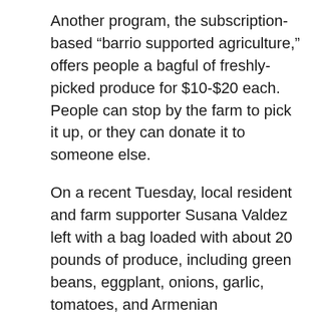Another program, the subscription-based “barrio supported agriculture,” offers people a bagful of freshly-picked produce for $10-$20 each. People can stop by the farm to pick it up, or they can donate it to someone else.
On a recent Tuesday, local resident and farm supporter Susana Valdez left with a bag loaded with about 20 pounds of produce, including green beans, eggplant, onions, garlic, tomatoes, and Armenian cucumbers. “You get different things, whatever’s in season,” she says. “The bell peppers and the carrots may not be as pretty as the ones you see in the store, but they taste amazing.”
In fact, Valdez says, knowing those who put the time and effort into growing crops for the community—